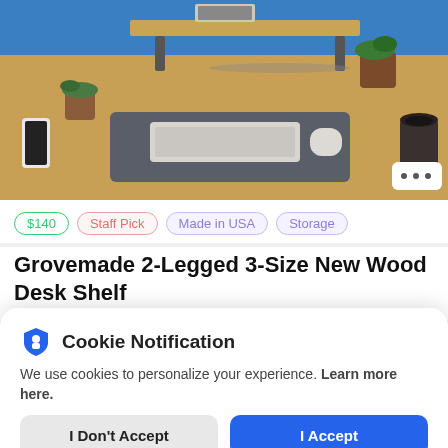[Figure (photo): Photo of a wooden desk shelf with two legs holding a monitor stand, keyboard on a felt mat, a phone, coffee mug, and small plants on a wooden desk against a blue wall.]
$140  Staff Pick  Made in USA  Storage
Grovemade 2-Legged 3-Size New Wood Desk Shelf
Cookie Notification
We use cookies to personalize your experience. Learn more here.
I Don't Accept  |  I Accept